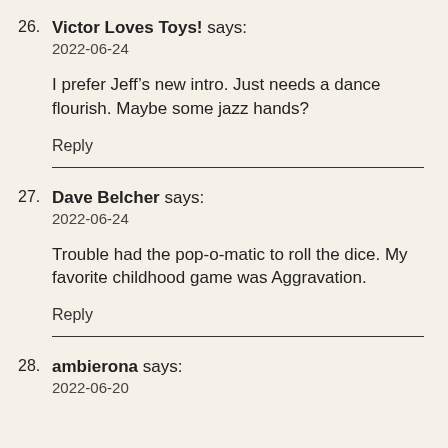26. Victor Loves Toys! says:
2022-06-24

I prefer Jeff’s new intro. Just needs a dance flourish. Maybe some jazz hands?

Reply
27. Dave Belcher says:
2022-06-24

Trouble had the pop-o-matic to roll the dice. My favorite childhood game was Aggravation.

Reply
28. ambierona says:
2022-06-20